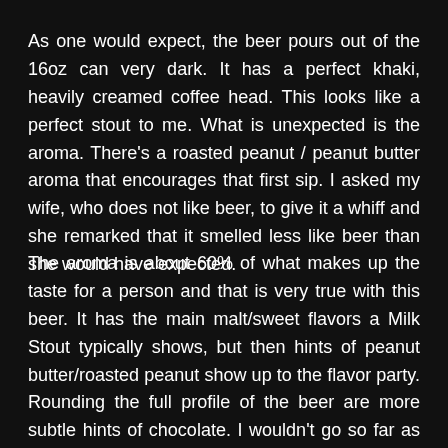untappd and Beer Advocate. As one would expect, the beer pours out of the 16oz can very dark. It has a perfect khaki, heavily creamed coffee head. This looks like a perfect stout to me. What is unexpected is the aroma. There’s a roasted peanut / peanut butter aroma that encourages that first sip. I asked my wife, who does not like beer, to give it a whiff and she remarked that it smelled less like beer than she would have expected.
The aroma is about 60% of what makes up the taste for a person and that is very true with this beer. It has the main malt/sweet flavors a Milk Stout typically shows, but then hints of peanut butter/roasted peanut show up to the flavor party. Rounding the full profile of the beer are more subtle hints of chocolate. I wouldn’t go so far as to say this beer tastes like a Reese’s Peanut Butter Cup, but more importantly, the beer evokes that flavor. In my